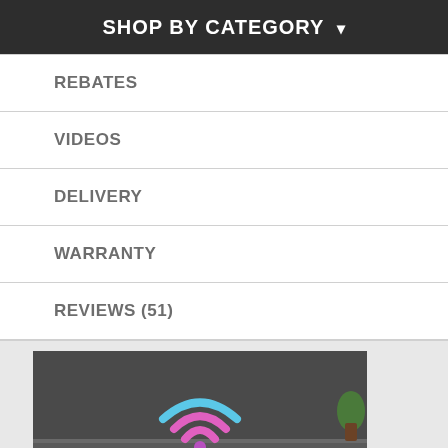SHOP BY CATEGORY ▾
REBATES
VIDEOS
DELIVERY
WARRANTY
REVIEWS (51)
[Figure (photo): Product image showing two top-load washing machines side by side with a glowing colorful WiFi symbol floating above them, on a dark background. A scroll-to-top button is visible in the bottom right.]